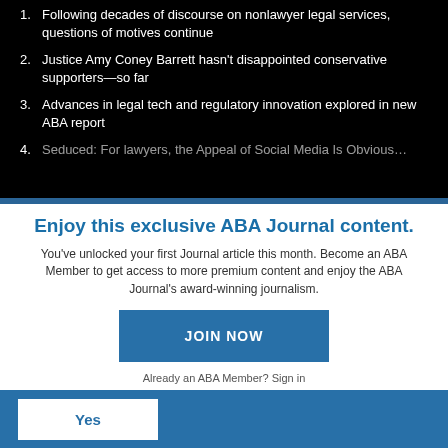1. Following decades of discourse on nonlawyer legal services, questions of motives continue
2. Justice Amy Coney Barrett hasn't disappointed conservative supporters—so far
3. Advances in legal tech and regulatory innovation explored in new ABA report
4. Seduced: For lawyers, the Appeal of Social Media Is Obvious…
Enjoy this exclusive ABA Journal content.
You've unlocked your first Journal article this month. Become an ABA Member to get access to more premium content and enjoy the ABA Journal's award-winning journalism.
JOIN NOW
Already an ABA Member? Sign in
Yes